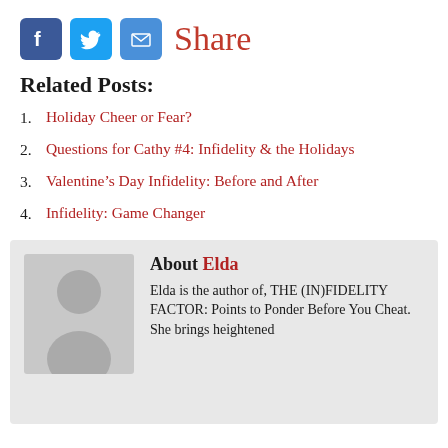[Figure (other): Social share icons (Facebook, Twitter, Email) and Share label]
Related Posts:
1. Holiday Cheer or Fear?
2. Questions for Cathy #4: Infidelity & the Holidays
3. Valentine’s Day Infidelity: Before and After
4. Infidelity: Game Changer
About Elda
Elda is the author of, THE (IN)FIDELITY FACTOR: Points to Ponder Before You Cheat. She brings heightened